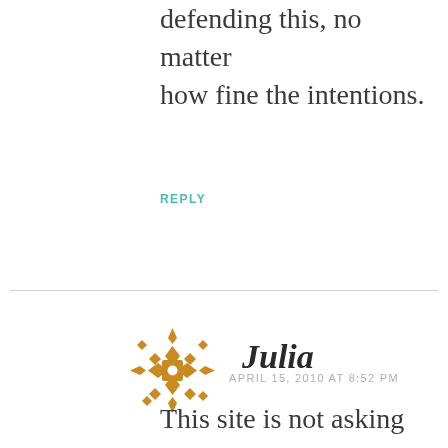defending this, no matter how fine the intentions.
REPLY
[Figure (illustration): Decorative snowflake/quilt pattern avatar icon in golden/amber color]
Julia
APRIL 15, 2010 AT 8:52 PM
This site is not asking us to eliminate this word